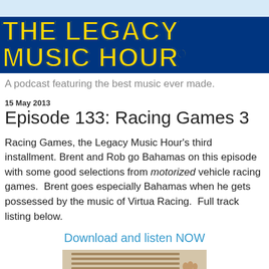THE LEGACY MUSIC HOUR®
A podcast featuring the best music ever made.
15 May 2013
Episode 133: Racing Games 3
Racing Games, the Legacy Music Hour's third installment. Brent and Rob go Bahamas on this episode with some good selections from motorized vehicle racing games.  Brent goes especially Bahamas when he gets possessed by the music of Virtua Racing.  Full track listing below.
Download and listen NOW
[Figure (photo): Two people (Brent and Rob) making funny expressions, with window blinds in the background. One person has hands raised.]